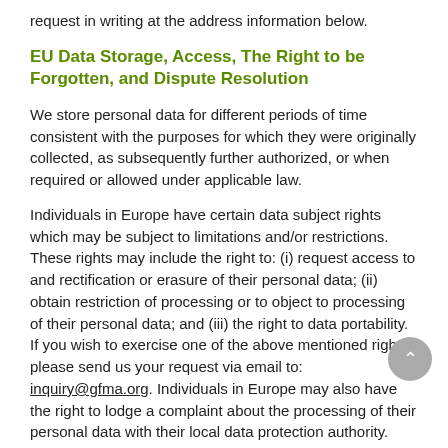request in writing at the address information below.
EU Data Storage, Access, The Right to be Forgotten, and Dispute Resolution
We store personal data for different periods of time consistent with the purposes for which they were originally collected, as subsequently further authorized, or when required or allowed under applicable law.
Individuals in Europe have certain data subject rights which may be subject to limitations and/or restrictions. These rights may include the right to: (i) request access to and rectification or erasure of their personal data; (ii) obtain restriction of processing or to object to processing of their personal data; and (iii) the right to data portability. If you wish to exercise one of the above mentioned rights, please send us your request via email to: inquiry@gfma.org. Individuals in Europe may also have the right to lodge a complaint about the processing of their personal data with their local data protection authority.